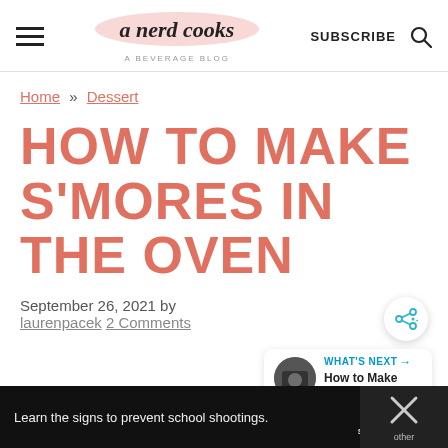a nerd cooks — A BEVERAGE BLOG
Home » Dessert
HOW TO MAKE S'MORES IN THE OVEN
September 26, 2021 by laurenpacek 2 Comments
WHAT'S NEXT → How to Make Cold Foam
Learn the signs to prevent school shootings.